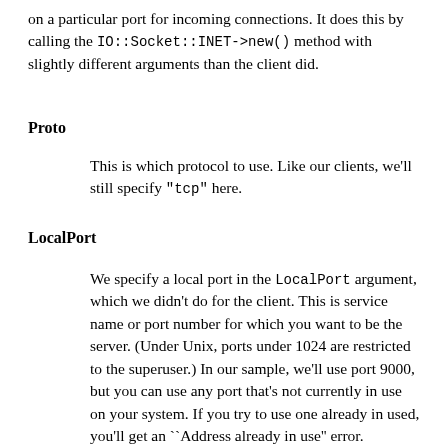on a particular port for incoming connections. It does this by calling the IO::Socket::INET->new() method with slightly different arguments than the client did.
Proto
This is which protocol to use. Like our clients, we'll still specify "tcp" here.
LocalPort
We specify a local port in the LocalPort argument, which we didn't do for the client. This is service name or port number for which you want to be the server. (Under Unix, ports under 1024 are restricted to the superuser.) In our sample, we'll use port 9000, but you can use any port that's not currently in use on your system. If you try to use one already in used, you'll get an ``Address already in use'' error.